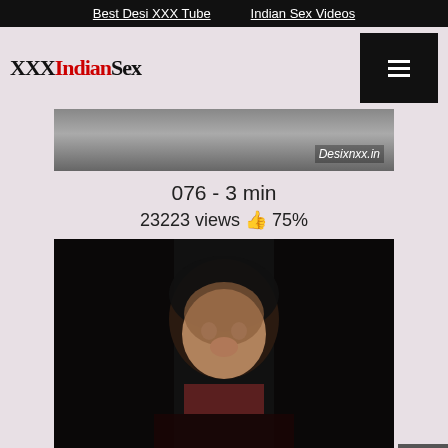Best Desi XXX Tube | Indian Sex Videos
XXXIndianSex
[Figure (screenshot): Partial video thumbnail visible at top of page with watermark Desixnxx.in]
076 - 3 min
23223 views 👍 75%
[Figure (photo): Video thumbnail showing a person with dark hair in low lighting]
Desi nri girl..